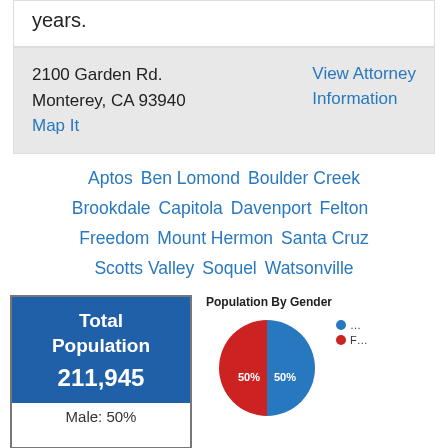years.
2100 Garden Rd.
Monterey, CA 93940
Map It
View Attorney Information
Aptos
Ben Lomond
Boulder Creek
Brookdale
Capitola
Davenport
Felton
Freedom
Mount Hermon
Santa Cruz
Scotts Valley
Soquel
Watsonville
[Figure (pie-chart): Population By Gender]
Total Population
211,945
Male: 50%